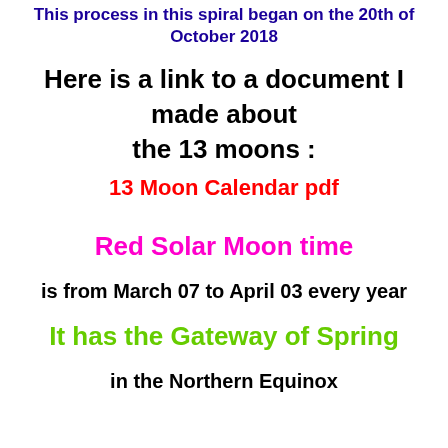This process in this spiral began on the 20th of October 2018
Here is a link to a document I made about the 13 moons :
13 Moon Calendar pdf
Red Solar Moon time
is from March 07 to April 03 every year
It has the Gateway of Spring
in the Northern Equinox